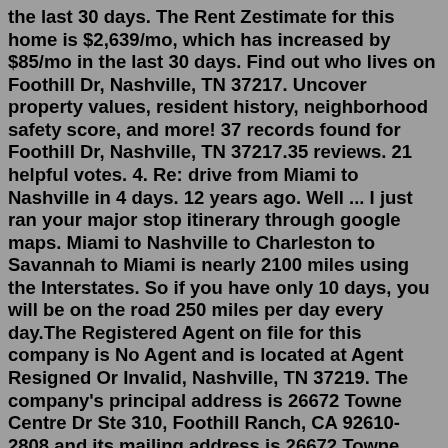the last 30 days. The Rent Zestimate for this home is $2,639/mo, which has increased by $85/mo in the last 30 days. Find out who lives on Foothill Dr, Nashville, TN 37217. Uncover property values, resident history, neighborhood safety score, and more! 37 records found for Foothill Dr, Nashville, TN 37217.35 reviews. 21 helpful votes. 4. Re: drive from Miami to Nashville in 4 days. 12 years ago. Well ... I just ran your major stop itinerary through google maps. Miami to Nashville to Charleston to Savannah to Miami is nearly 2100 miles using the Interstates. So if you have only 10 days, you will be on the road 250 miles per day every day.The Registered Agent on file for this company is No Agent and is located at Agent Resigned Or Invalid, Nashville, TN 37219. The company's principal address is 26672 Towne Centre Dr Ste 310, Foothill Ranch, CA 92610-2808 and its mailing address is 26672 Towne Centre Dr Ste 310, Foothill Ranch, CA 92610-2808. PERIGON MEDICAL DISTRIBUTION CORP.517 Foothill Drive, Nashville, TN 37217 is primarily listed for rent at...